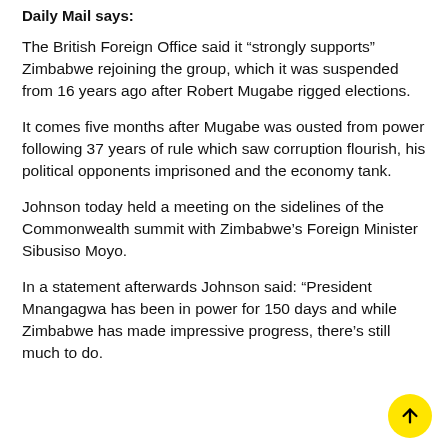Daily Mail says:
The British Foreign Office said it “strongly supports” Zimbabwe rejoining the group, which it was suspended from 16 years ago after Robert Mugabe rigged elections.
It comes five months after Mugabe was ousted from power following 37 years of rule which saw corruption flourish, his political opponents imprisoned and the economy tank.
Johnson today held a meeting on the sidelines of the Commonwealth summit with Zimbabwe’s Foreign Minister Sibusiso Moyo.
In a statement afterwards Johnson said: “President Mnangagwa has been in power for 150 days and while Zimbabwe has made impressive progress, there’s still much to do.